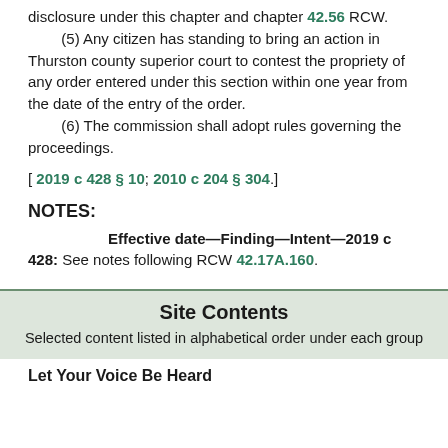disclosure under this chapter and chapter 42.56 RCW. (5) Any citizen has standing to bring an action in Thurston county superior court to contest the propriety of any order entered under this section within one year from the date of the entry of the order. (6) The commission shall adopt rules governing the proceedings.
[ 2019 c 428 § 10; 2010 c 204 § 304.]
NOTES:
Effective date—Finding—Intent—2019 c 428: See notes following RCW 42.17A.160.
Site Contents
Selected content listed in alphabetical order under each group
Let Your Voice Be Heard